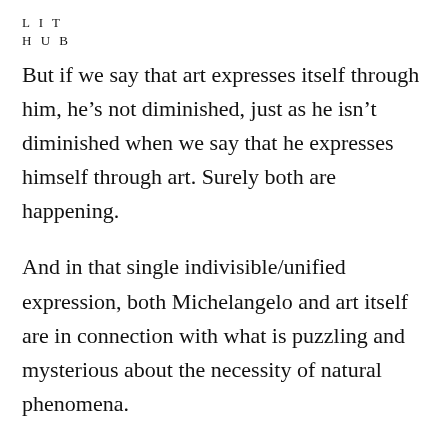L I T
H U B
But if we say that art expresses itself through him, he's not diminished, just as he isn't diminished when we say that he expresses himself through art. Surely both are happening.
And in that single indivisible/unified expression, both Michelangelo and art itself are in connection with what is puzzling and mysterious about the necessity of natural phenomena.
It’s true that everything is chance and change, but only because there also is an order.